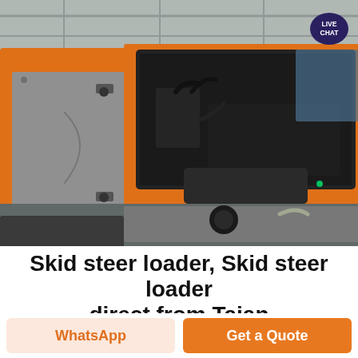[Figure (photo): Photograph of an orange skid steer loader with an open access panel revealing hydraulic components and machinery internals. A 'LIVE CHAT' badge appears in the upper right corner of the photo.]
Skid steer loader, Skid steer loader direct from Taian
WhatsApp
Get a Quote